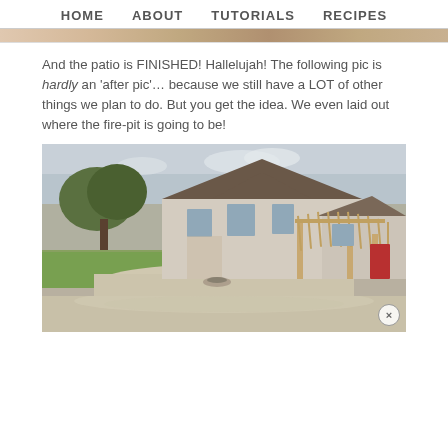HOME   ABOUT   TUTORIALS   RECIPES
[Figure (photo): Partial top strip of a previous photo, cropped at top of page]
And the patio is FINISHED! Hallelujah! The following pic is hardly an 'after pic'… because we still have a LOT of other things we plan to do. But you get the idea. We even laid out where the fire-pit is going to be!
[Figure (photo): Exterior photo of a two-story farmhouse with a wood pergola/patio cover over the front entrance. There is a large tree to the left, green lawn, and a circular concrete patio with a fire-pit area in the foreground. The house has beige/tan siding, a dark brown shingle roof, and a red front door.]
[Figure (photo): Bottom portion of the same house exterior photo showing concrete patio surface, partially cut off at page bottom.]